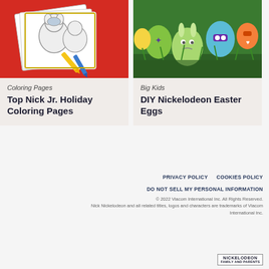[Figure (illustration): Coloring pages with PAW Patrol characters on red background with crayons]
Coloring Pages
Top Nick Jr. Holiday Coloring Pages
[Figure (photo): DIY decorated Easter eggs as Nickelodeon characters on green grass background]
Big Kids
DIY Nickelodeon Easter Eggs
PRIVACY POLICY   COOKIES POLICY   DO NOT SELL MY PERSONAL INFORMATION   © 2022 Viacom International Inc. All Rights Reserved. Nick Nickelodeon and all related titles, logos and characters are trademarks of Viacom International Inc.